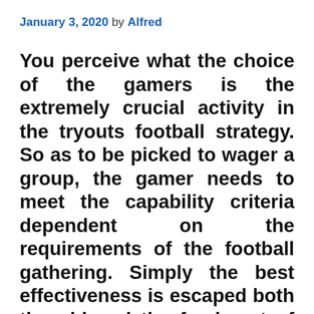January 3, 2020 by Alfred
You perceive what the choice of the gamers is the extremely crucial activity in the tryouts football strategy. So as to be picked to wager a group, the gamer needs to meet the capability criteria dependent on the requirements of the football gathering. Simply the best effectiveness is escaped both the old and the fresh out of the plastic new gamers. Much criticalness is given to the assessment test and selection of